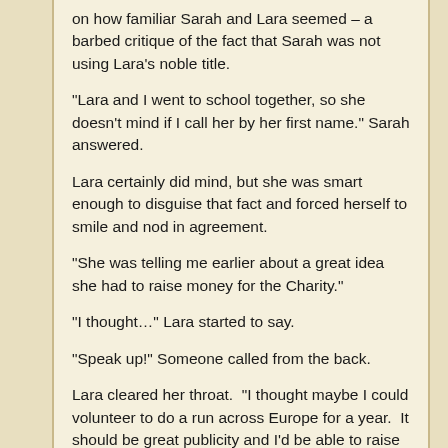on how familiar Sarah and Lara seemed – a barbed critique of the fact that Sarah was not using Lara's noble title.
“Lara and I went to school together, so she doesn’t mind if I call her by her first name.” Sarah answered.
Lara certainly did mind, but she was smart enough to disguise that fact and forced herself to smile and nod in agreement.
“She was telling me earlier about a great idea she had to raise money for the Charity.”
“I thought…” Lara started to say.
“Speak up!” Someone called from the back.
Lara cleared her throat.  “I thought maybe I could volunteer to do a run across Europe for a year.  It should be great publicity and I’d be able to raise donations for the Charity.” Lara said.
There was a low murmuring that indicated that the assembled philanthropists were not